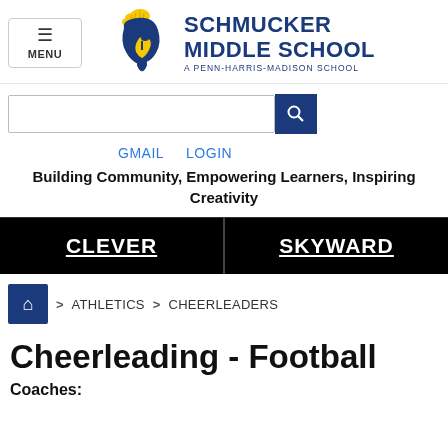[Figure (logo): Schmucker Middle School logo with Trojan helmet mascot in blue and yellow, school name in bold blue text, tagline 'A PENN-HARRIS-MADISON SCHOOL']
[Figure (other): Search bar with blue search button]
GMAIL   LOGIN
Building Community, Empowering Learners, Inspiring Creativity
CLEVER   SKYWARD
> ATHLETICS > CHEERLEADERS
Cheerleading - Football
Coaches: